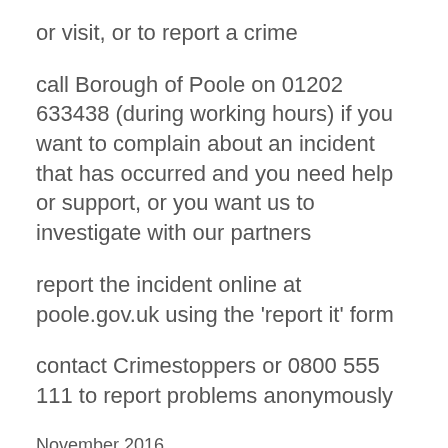or visit, or to report a crime
call Borough of Poole on 01202 633438 (during working hours) if you want to complain about an incident that has occurred and you need help or support, or you want us to investigate with our partners
report the incident online at poole.gov.uk using the 'report it' form
contact Crimestoppers or 0800 555 111 to report problems anonymously
November 2016
Posted: 21 September 2017